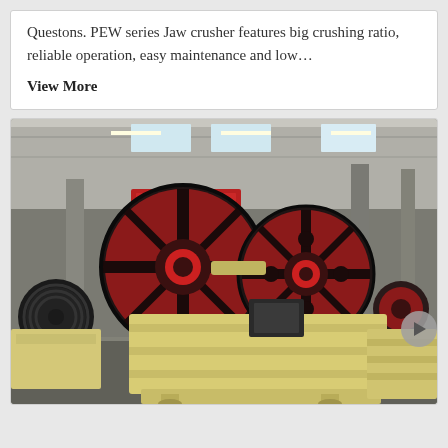Questons. PEW series Jaw crusher features big crushing ratio, reliable operation, easy maintenance and low…
View More
[Figure (photo): Industrial photograph of PEW series Jaw crushers in a large factory/warehouse. Multiple large yellow jaw crusher machines with prominent black and red flywheels are visible. The factory interior has steel columns, overhead lighting strips, and a crane rail. Black rubber belt pulleys are visible on the left. A navigation arrow button is visible on the right edge of the image.]